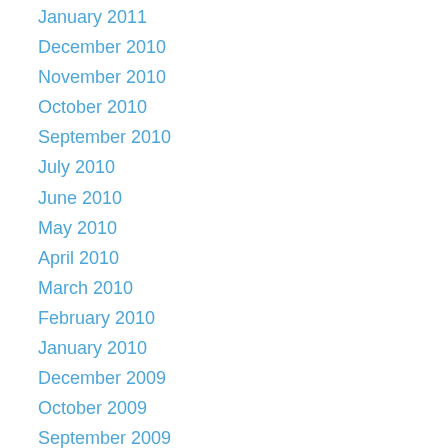January 2011
December 2010
November 2010
October 2010
September 2010
July 2010
June 2010
May 2010
April 2010
March 2010
February 2010
January 2010
December 2009
October 2009
September 2009
August 2009
June 2009
May 2009
March 2009
February 2009